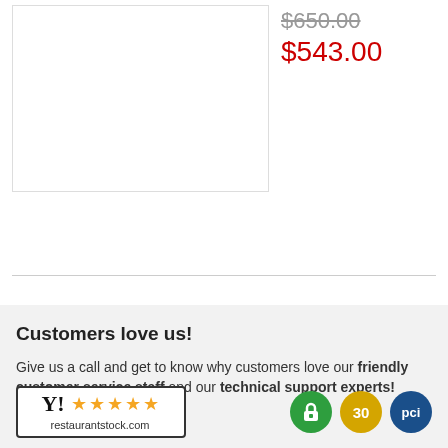[Figure (photo): Product image placeholder box (white rectangle with border)]
$650.00 (strikethrough) $543.00 (sale price in red)
Customers love us!
Give us a call and get to know why customers love our friendly customer service staff and our technical support experts!
1(646)921-1112
[Figure (logo): Restoraunt stock 5-star rating badge with logo and restaurantstock.com URL]
[Figure (logo): Three security trust badges: green lock badge, gold 30-day badge, blue PCI badge]